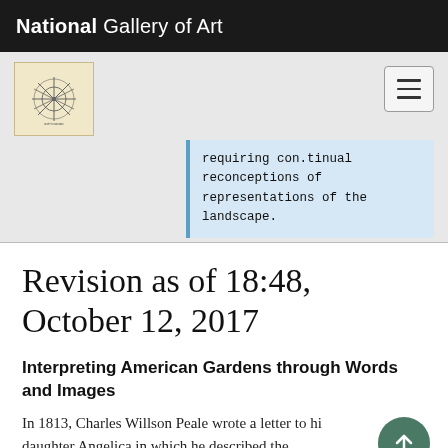National Gallery of Art
requiring con.tinual reconceptions of representations of the landscape.
Revision as of 18:48, October 12, 2017
Interpreting American Gardens through Words and Images
In 1813, Charles Willson Peale wrote a letter to his daughter Angelica in which he described the